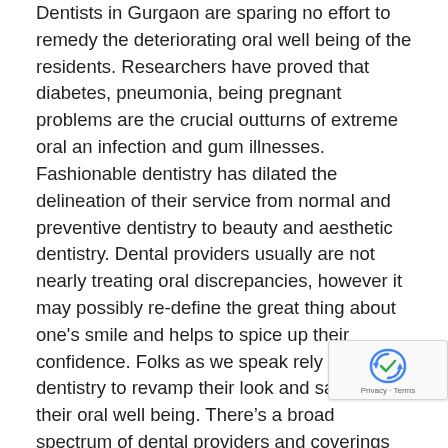Dentists in Gurgaon are sparing no effort to remedy the deteriorating oral well being of the residents. Researchers have proved that diabetes, pneumonia, being pregnant problems are the crucial outturns of extreme oral an infection and gum illnesses. Fashionable dentistry has dilated the delineation of their service from normal and preventive dentistry to beauty and aesthetic dentistry. Dental providers usually are not nearly treating oral discrepancies, however it may possibly re-define the great thing about one's smile and helps to spice up their confidence. Folks as we speak rely on beauty dentistry to revamp their look and safeguard their oral well being. There's a broad spectrum of dental providers and coverings accessible as we speak to revive and enhance the dental situation of the sufferers and tone down their anxiousness.
Dentistry is classed into 5 classes Basic Dentistry: It contains dentures, composite fillings, root canal rem... Inlay Onlay restoration, and many others. Preventive